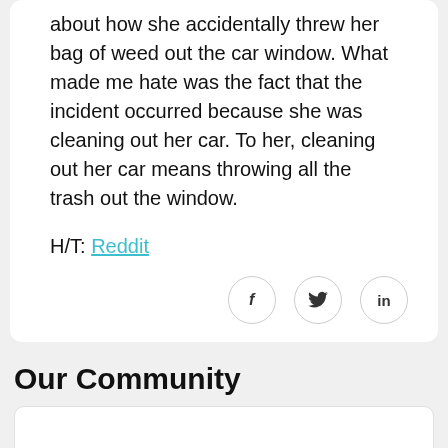about how she accidentally threw her bag of weed out the car window. What made me hate was the fact that the incident occurred because she was cleaning out her car. To her, cleaning out her car means throwing all the trash out the window.
H/T: Reddit
[Figure (other): Social sharing icons: Facebook (f), Twitter (bird), LinkedIn (in) as circular buttons]
Our Community